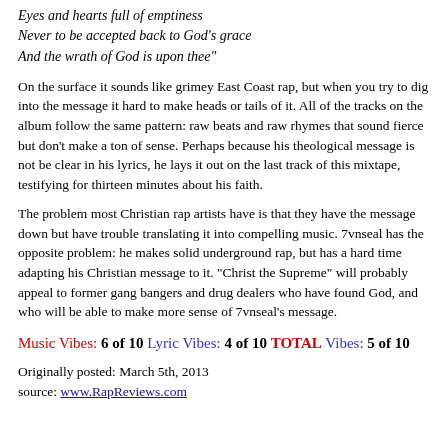Eyes and hearts full of emptiness
Never to be accepted back to God's grace
And the wrath of God is upon thee"
On the surface it sounds like grimey East Coast rap, but when you try to dig into the message it hard to make heads or tails of it. All of the tracks on the album follow the same pattern: raw beats and raw rhymes that sound fierce but don't make a ton of sense. Perhaps because his theological message is not be clear in his lyrics, he lays it out on the last track of this mixtape, testifying for thirteen minutes about his faith.
The problem most Christian rap artists have is that they have the message down but have trouble translating it into compelling music. 7vnseal has the opposite problem: he makes solid underground rap, but has a hard time adapting his Christian message to it. "Christ the Supreme" will probably appeal to former gang bangers and drug dealers who have found God, and who will be able to make more sense of 7vnseal's message.
Music Vibes: 6 of 10 Lyric Vibes: 4 of 10 TOTAL Vibes: 5 of 10
Originally posted: March 5th, 2013
source: www.RapReviews.com